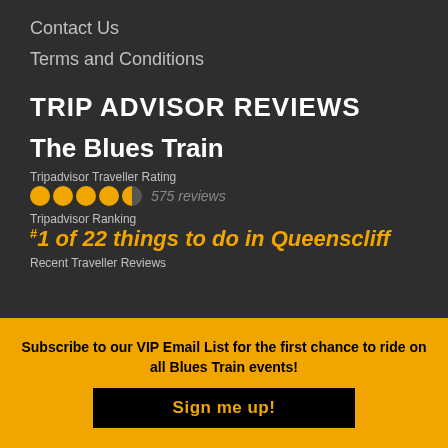Contact Us
Terms and Conditions
TRIP ADVISOR REVIEWS
The Blues Train
Tripadvisor Traveller Rating
[Figure (other): 4.5 star rating circles in orange with 575 reviews]
Tripadvisor Ranking
#1 of 22 things to do in Queenscliff
Recent Traveller Reviews
Subscribe to our VIP Email List for the first chance to ride on all Blues Train events!
Sign me up!